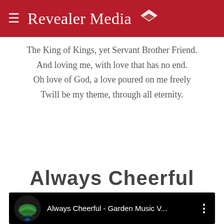≡ Revealer Media ◆
The King of Kings, yet Servant Brother Friend.
And loving me, with love that has no end.
Oh love of God, a love poured on me freely
Twill be my theme, through all eternity.
Always Cheerful
[Figure (screenshot): YouTube video embed showing 'Always Cheerful - Garden Music V...' with a dark background, a green circular logo thumbnail on the left, the video title in white text, and a three-dot menu icon on the right.]